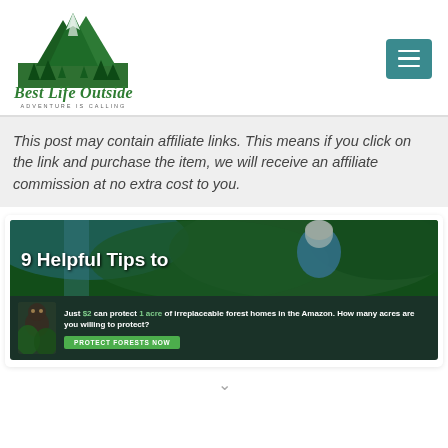[Figure (logo): Best Life Outside logo with mountain graphic and tagline 'Adventure is Calling']
This post may contain affiliate links. This means if you click on the link and purchase the item, we will receive an affiliate commission at no extra cost to you.
[Figure (screenshot): Blog post thumbnail showing '9 Helpful Tips to' text overlay on outdoor/forest background]
[Figure (infographic): Amazon conservation ad: 'Just $2 can protect 1 acre of irreplaceable forest homes in the Amazon. How many acres are you willing to protect?' with PROTECT FORESTS NOW button]